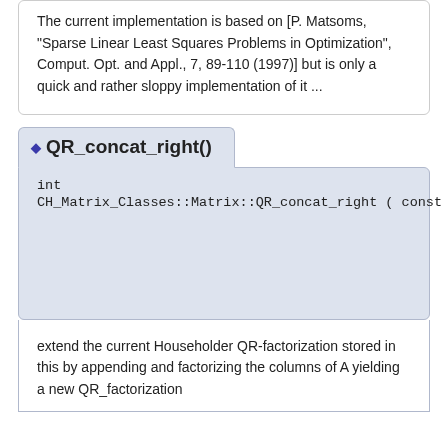The current implementation is based on [P. Matsoms, "Sparse Linear Least Squares Problems in Optimization", Comput. Opt. and Appl., 7, 89-110 (1997)] but is only a quick and rather sloppy implementation of it ...
◆ QR_concat_right()
int
CH_Matrix_Classes::Matrix::QR_concat_right ( const Matrix & A,
    Indexmatrix & piv,
    Integer   r,
    Real      tol =
)
extend the current Householder QR-factorization stored in this by appending and factorizing the columns of A yielding a new QR_factorization